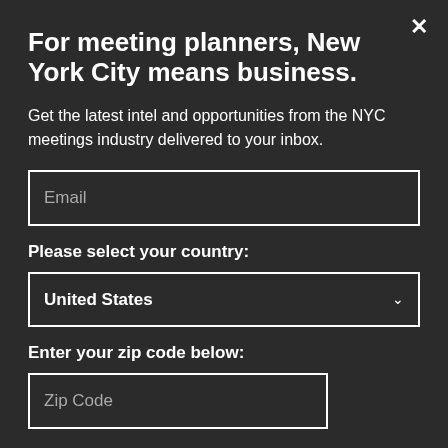For meeting planners, New York City means business.
Get the latest intel and opportunities from the NYC meetings industry delivered to your inbox.
Email
Please select your country:
United States
Enter your zip code below:
Zip Code
said Rachel Lewis, the property's assistant director of event planning.
“The entire program was a huge success,” Lewis said. “It